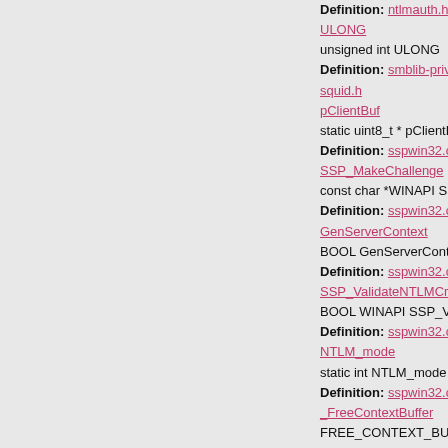Definition: ntlmauth.h:118
ULONG
unsigned int ULONG
Definition: smblib-priv.h:147
squid.h
pClientBuf
static uint8_t * pClientBuf
Definition: sspwin32.cc:34
SSP_MakeChallenge
const char *WINAPI SSP_MakeChallenge
Definition: sspwin32.cc:458
GenServerContext
BOOL GenServerContext(PAUTH_S
Definition: sspwin32.cc:278
SSP_ValidateNTLMCredentials
BOOL WINAPI SSP_ValidateNTLMC
Definition: sspwin32.cc:505
NTLM_mode
static int NTLM_mode
Definition: sspwin32.cc:29
_FreeContextBuffer
FREE_CONTEXT_BUFFER_FN _Fr
Definition: sspwin32.cc:47
_FreeCredentialsHandle
FREE_CREDENTIALS_HANDLE_FN
Definition: sspwin32.cc:48
_InitializeSecurityContext
INITIALIZE_SECURITY_CONTEXT_
Definition: sspwin32.cc:49
_DeleteSecurityContext
DELETE_SECURITY_CONTEXT_FN
Definition: sspwin32.cc:46
_CompleteAuthToken
COMPLETE_AUTH_TOKEN_FN _C
Definition: sspwin32.cc:45
Use_Unicode
BOOL Use_Unicode
Definition: sspwin32.cc:39